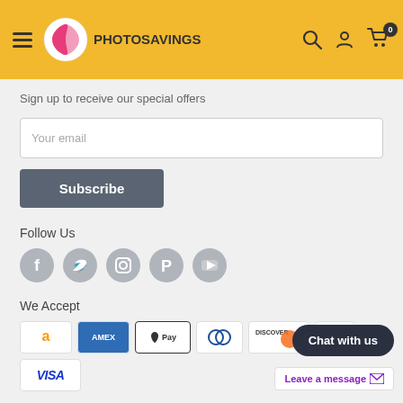Photo Savings
Sign up to receive our special offers
Your email
Subscribe
Follow Us
[Figure (infographic): Social media icons: Facebook, Twitter, Instagram, Pinterest, YouTube]
We Accept
[Figure (infographic): Payment logos: Amazon, American Express, Apple Pay, Diners Club, Discover, JCB, Visa]
Chat with us
Leave a message